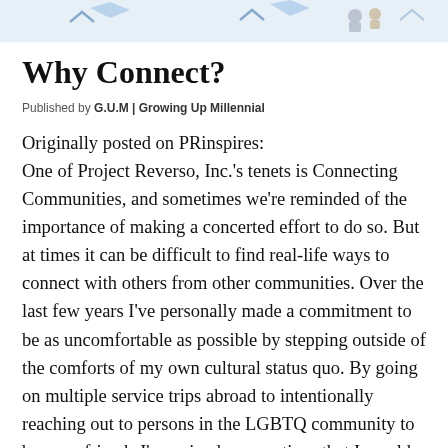[Figure (illustration): Decorative banner/header image with illustrated figures and icons at the top of the page]
Why Connect?
Published by G.U.M | Growing Up Millennial
Originally posted on PRinspires:
One of Project Reverso, Inc.'s tenets is Connecting Communities, and sometimes we're reminded of the importance of making a concerted effort to do so. But at times it can be difficult to find real-life ways to connect with others from other communities. Over the last few years I've personally made a commitment to be as uncomfortable as possible by stepping outside of the comforts of my own cultural status quo. By going on multiple service trips abroad to intentionally reaching out to persons in the LGBTQ community to become friends I've gained perspectives that I would have otherwise never had. This summer and fall semester I took the opportunity to host two English learning